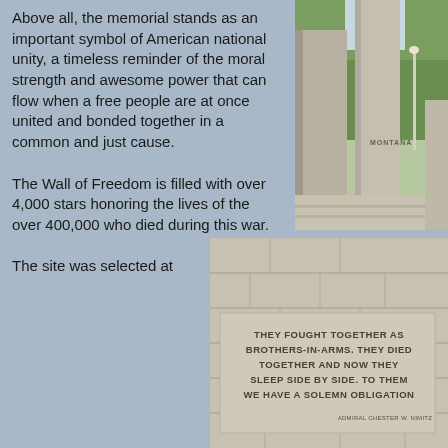Above all, the memorial stands as an important symbol of American national unity, a timeless reminder of the moral strength and awesome power that can flow when a free people are at once united and bonded together in a common and just cause. The Wall of Freedom is filled with over 4,000 stars honoring the lives of the over 400,000 who died during this war. The site was selected at
[Figure (photo): Photograph of the WWII Memorial granite pillars with 'MONTANA' inscribed on one pillar, trees visible in background]
[Figure (photo): Photograph of a stone wall at the WWII Memorial engraved with a quote: 'THEY FOUGHT TOGETHER AS BROTHERS-IN-ARMS. THEY DIED TOGETHER AND NOW THEY SLEEP SIDE BY SIDE. TO THEM WE HAVE A SOLEMN OBLIGATION' attributed to ADMIRAL CHESTER W. NIMITZ]